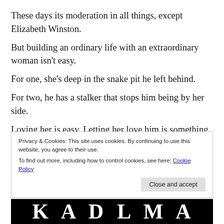These days its moderation in all things, except Elizabeth Winston.
But building an ordinary life with an extraordinary woman isn't easy.
For one, she's deep in the snake pit he left behind.
For two, he has a stalker that stops him being by her side.
Loving her is easy. Letting her love him is something he works on every day.
How hard does Elizabeth's life have to be before she
Privacy & Cookies: This site uses cookies. By continuing to use this website, you agree to their use.
To find out more, including how to control cookies, see here: Cookie Policy
[Figure (other): Black banner strip at the bottom with large white bold letters partially visible]